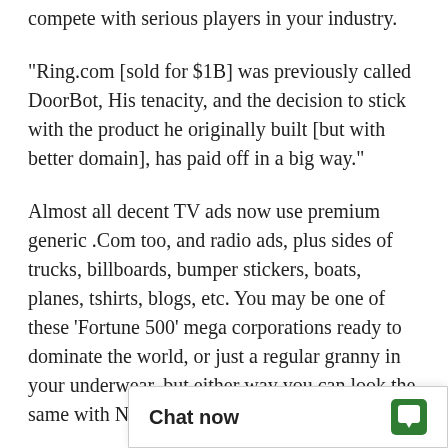compete with serious players in your industry.
"Ring.com [sold for $1B] was previously called DoorBot, His tenacity, and the decision to stick with the product he originally built [but with better domain], has paid off in a big way."
Almost all decent TV ads now use premium generic .Com too, and radio ads, plus sides of trucks, billboards, bumper stickers, boats, planes, tshirts, blogs, etc. You may be one of these 'Fortune 500' mega corporations ready to dominate the world, or just a regular granny in your underwear, but either way you can look the same with NadoNenAdo.com.
DomainMarket.com is the only authorized pricing agent for this domain name, anyone else is a third party seller. Every do... completed by top wo...
Chat now